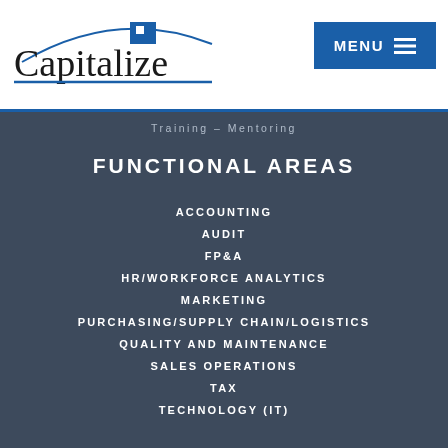[Figure (logo): Capitalize company logo with blue arc and square icon above letter i]
MENU ≡
Training – Mentoring
FUNCTIONAL AREAS
ACCOUNTING
AUDIT
FP&A
HR/WORKFORCE ANALYTICS
MARKETING
PURCHASING/SUPPLY CHAIN/LOGISTICS
QUALITY AND MAINTENANCE
SALES OPERATIONS
TAX
TECHNOLOGY (IT)